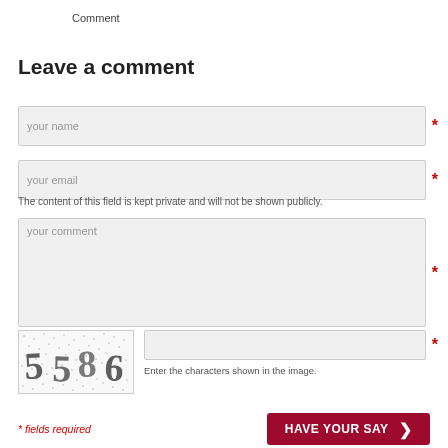Comment
Leave a comment
your name
your email
The content of this field is kept private and will not be shown publicly.
your comment
[Figure (other): CAPTCHA image showing characters 5586 on a dotted background]
Enter the characters shown in the image.
* fields required
HAVE YOUR SAY